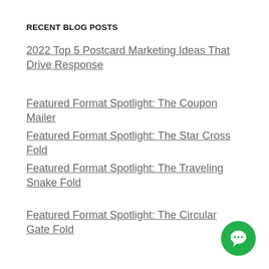RECENT BLOG POSTS
2022 Top 5 Postcard Marketing Ideas That Drive Response
Featured Format Spotlight: The Coupon Mailer
Featured Format Spotlight: The Star Cross Fold
Featured Format Spotlight: The Traveling Snake Fold
Featured Format Spotlight: The Circular Gate Fold
[Figure (illustration): Green circular chat button with white chat bubble icon in bottom-right corner]